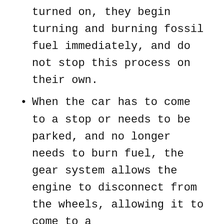turned on, they begin turning and burning fossil fuel immediately, and do not stop this process on their own.
When the car has to come to a stop or needs to be parked, and no longer needs to burn fuel, the gear system allows the engine to disconnect from the wheels, allowing it to come to a halt.